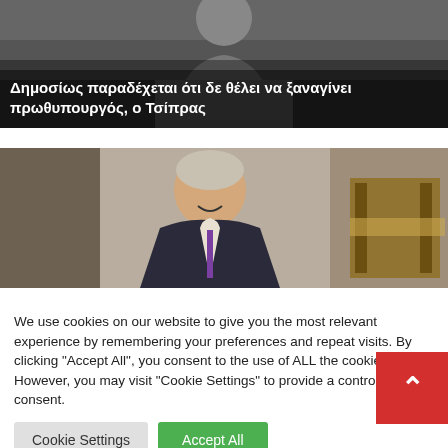[Figure (photo): Black and white photo of a person, partially visible, with overlaid Greek text headline about Tsipras]
Δημοσίως παραδέχεται ότι δε θέλει να ξαναγίνει πρωθυπουργός, ο Τσίπρας
[Figure (photo): Color photo of a smiling man in a suit (Mitsotakis) in a formal parliamentary setting with ornate wooden furniture]
We use cookies on our website to give you the most relevant experience by remembering your preferences and repeat visits. By clicking "Accept All", you consent to the use of ALL the cookies. However, you may visit "Cookie Settings" to provide a controlled consent.